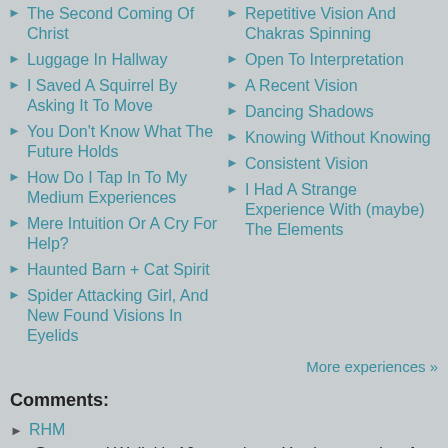The Second Coming Of Christ
Luggage In Hallway
I Saved A Squirrel By Asking It To Move
You Don't Know What The Future Holds
How Do I Tap In To My Medium Experiences
Mere Intuition Or A Cry For Help?
Haunted Barn + Cat Spirit
Spider Attacking Girl, And New Found Visions In Eyelids
Repetitive Vision And Chakras Spinning
Open To Interpretation
A Recent Vision
Dancing Shadows
Knowing Without Knowing
Consistent Vision
I Had A Strange Experience With (maybe) The Elements
More experiences »
Comments:
RHM
@mommaj Well, it's 10 years later. You have a talent for psychometry. Ideally ...